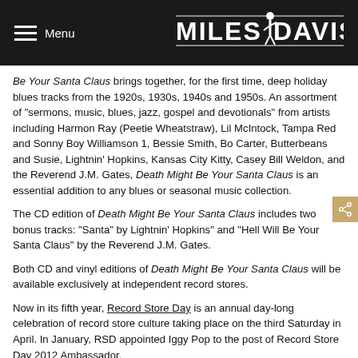Menu | MILES DAVIS
Be Your Santa Claus brings together, for the first time, deep holiday blues tracks from the 1920s, 1930s, 1940s and 1950s. An assortment of "sermons, music, blues, jazz, gospel and devotionals" from artists including Harmon Ray (Peetie Wheatstraw), Lil McIntock, Tampa Red and Sonny Boy Williamson 1, Bessie Smith, Bo Carter, Butterbeans and Susie, Lightnin' Hopkins, Kansas City Kitty, Casey Bill Weldon, and the Reverend J.M. Gates, Death Might Be Your Santa Claus is an essential addition to any blues or seasonal music collection.
The CD edition of Death Might Be Your Santa Claus includes two bonus tracks: “Santa” by Lightnin’ Hopkins” and “Hell Will Be Your Santa Claus” by the Reverend J.M. Gates.
Both CD and vinyl editions of Death Might Be Your Santa Claus will be available exclusively at independent record stores.
Now in its fifth year, Record Store Day is an annual day-long celebration of record store culture taking place on the third Saturday in April. In January, RSD appointed Iggy Pop to the post of Record Store Day 2012 Ambassador.